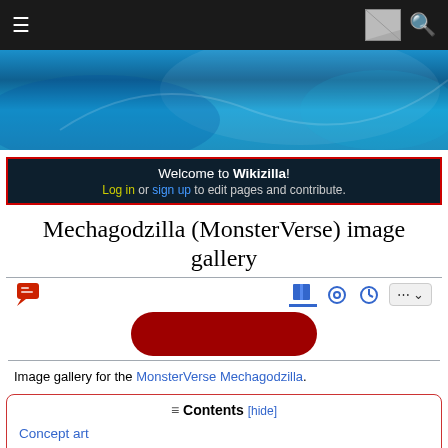[Figure (screenshot): Dark navigation bar with hamburger menu icon on left, flag icon and search icon on right]
[Figure (photo): Blue teal hero banner with atmospheric cloudy background]
Welcome to Wikizilla! Log in or sign up to edit pages and contribute.
Mechagodzilla (MonsterVerse) image gallery
[Figure (screenshot): Toolbar with talk icon on left, book/read icon with blue underline, eye icon, clock icon, ellipsis and chevron button on right, and a dark red oval shape below]
Image gallery for the MonsterVerse Mechagodzilla.
Contents [hide]
Concept art
Matt Allsopp
Jared Krichevsky